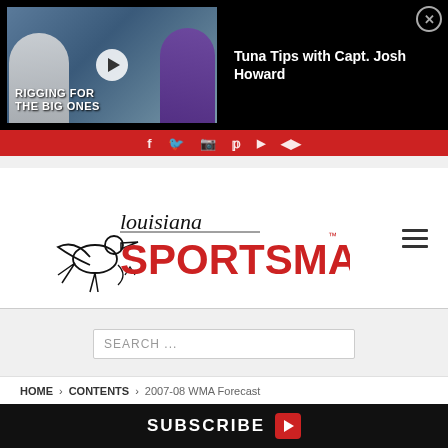[Figure (screenshot): Video overlay showing two people fishing with text 'RIGGING FOR THE BIG ONES' and a play button, on a black background bar]
Tuna Tips with Capt. Josh Howard
[Figure (logo): Louisiana Sportsman logo with pelican/fleur-de-lis illustration and red SPORTSMAN text]
SEARCH ...
HOME > CONTENTS > 2007-08 WMA Forecast
SUBSCRIBE